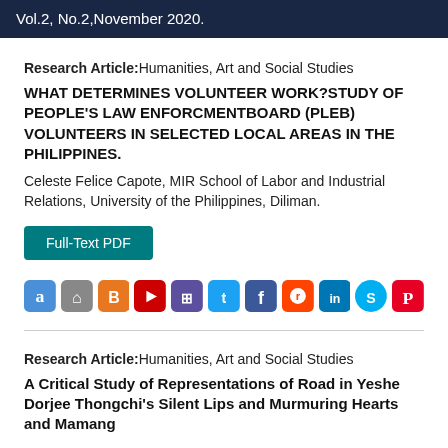Vol.2, No.2,November 2020.
Research Article:Humanities, Art and Social Studies
WHAT DETERMINES VOLUNTEER WORK?STUDY OF PEOPLE'S LAW ENFORCMENTBOARD (PLEB) VOLUNTEERS IN SELECTED LOCAL AREAS IN THE PHILIPPINES.
Celeste Felice Capote, MIR School of Labor and Industrial Relations, University of the Philippines, Diliman.
Full-Text PDF
[Figure (other): Row of social media share icons: Academia, Home, Blogger, YouTube, ShareThis, Twitter, Facebook, Reddit, LinkedIn, Skype, Pinterest]
Research Article:Humanities, Art and Social Studies
A Critical Study of Representations of Road in Yeshe Dorjee Thongchi's Silent Lips and Murmuring Hearts and Mamang